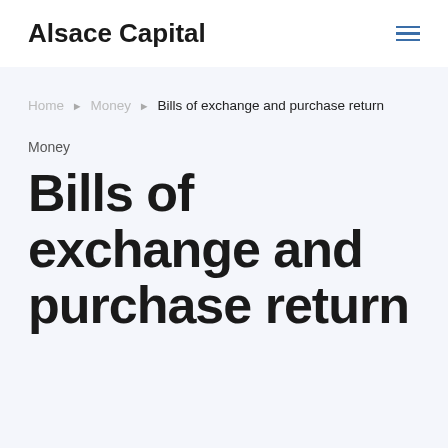Alsace Capital
Home ▶ Money ▶ Bills of exchange and purchase return
Money
Bills of exchange and purchase return